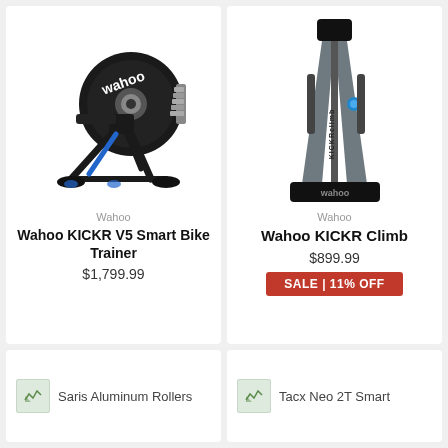[Figure (photo): Wahoo KICKR V5 Smart Bike Trainer product photo on white background]
Wahoo
Wahoo KICKR V5 Smart Bike Trainer
$1,799.99
[Figure (photo): Wahoo KICKR Climb grade simulator product photo on white background]
Wahoo
Wahoo KICKR Climb
$899.99
SALE | 11% OFF
[Figure (photo): Broken image placeholder for Saris Aluminum Rollers]
Saris Aluminum Rollers
[Figure (photo): Broken image placeholder for Tacx Neo 2T Smart]
Tacx Neo 2T Smart